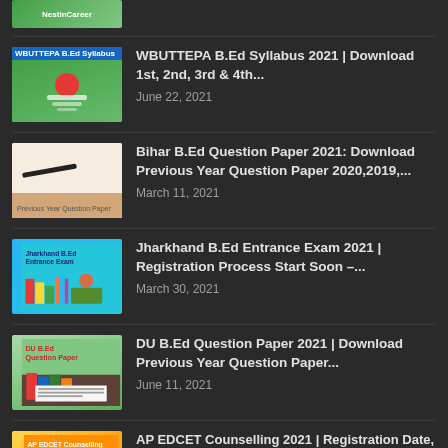[Figure (screenshot): Partial thumbnail image at top showing NestInCareer logo on green background]
[Figure (screenshot): Thumbnail for WBUTTEPA B.Ed Syllabus article showing blue header and student figure]
WBUTTEPA B.Ed Syllabus 2021 | Download 1st, 2nd, 3rd & 4th...
June 22, 2021
[Figure (screenshot): Thumbnail for Bihar B.Ed Question Paper showing pen on paper]
Bihar B.Ed Question Paper 2021: Download Previous Year Question Paper 2020,2019,...
March 11, 2021
[Figure (screenshot): Thumbnail for Jharkhand B.Ed Entrance Exam showing teal background with books and pencils]
Jharkhand B.Ed Entrance Exam 2021 | Registration Process Start Soon –...
March 30, 2021
[Figure (screenshot): Thumbnail for DU B.Ed Question Paper showing green background with library books]
DU B.Ed Question Paper 2021 | Download Previous Year Question Paper...
June 11, 2021
[Figure (screenshot): Partial thumbnail for AP EDCET Counselling showing yellow-orange gradient]
AP EDCET Counselling 2021 | Registration Date, College & Seat Allotment...